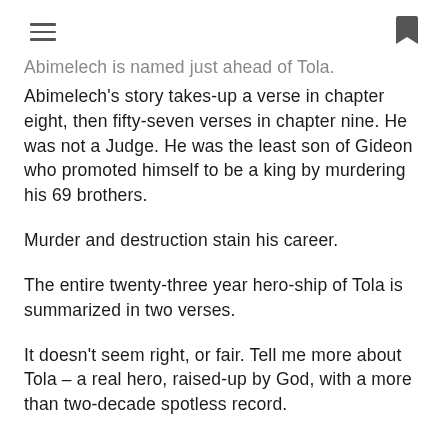[hamburger menu] [bookmark icon]
Abimelech is named just ahead of Tola. Abimelech's story takes-up a verse in chapter eight, then fifty-seven verses in chapter nine. He was not a Judge. He was the least son of Gideon who promoted himself to be a king by murdering his 69 brothers.
Murder and destruction stain his career.
The entire twenty-three year hero-ship of Tola is summarized in two verses.
It doesn't seem right, or fair. Tell me more about Tola – a real hero, raised-up by God, with a more than two-decade spotless record.